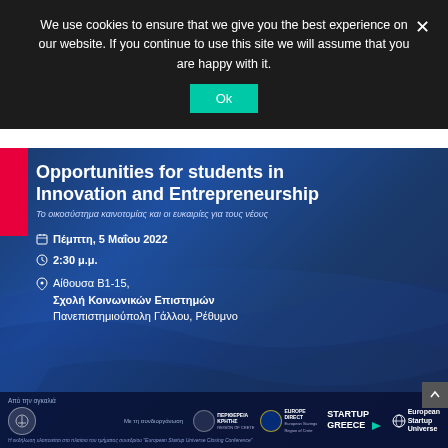We use cookies to ensure that we give you the best experience on our website. If you continue to use this site we will assume that you are happy with it.
[Figure (screenshot): Cookie consent banner with Ok button and close X, overlaying an event poster]
Opportunities for students in Innovation and Entrepreneurship
Το οικοσύστημα καινοτομίας και οι ευκαιρίες για τους νέους
Πέμπτη, 5 Μαΐου 2022
2:30 μ.μ.
Αίθουσα Β1-15, Σχολή Κοινωνικών Επιστημών Πανεπιστημιούπολη Γάλλου, Ρέθυμνο